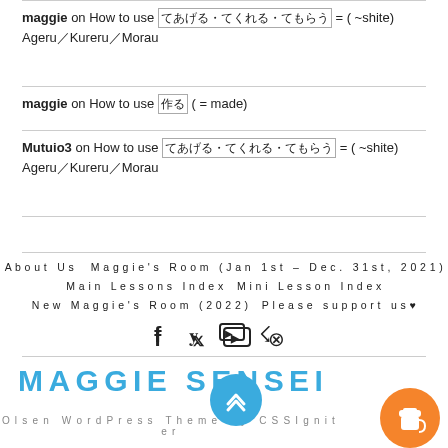maggie on How to use てあげる・てくれる・てもらう = ( ~shite) Ageru/Kureru/Morau
maggie on How to use 作る ( = made)
Mutuio3 on How to use てあげる・てくれる・てもらう = ( ~shite) Ageru/Kureru/Morau
About Us   Maggie's Room (Jan 1st – Dec. 31st, 2021)   Main Lessons Index   Mini Lesson Index   New Maggie's Room (2022)   Please support us♥
[Figure (logo): MAGGIE SENSEI site logo in large blue spaced uppercase letters with scroll-to-top button and coffee cup donation button]
Olsen WordPress Theme by CSSIgniter